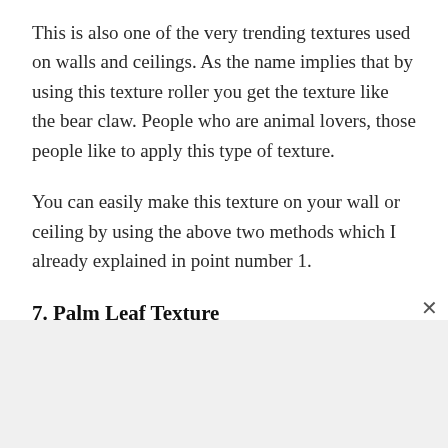This is also one of the very trending textures used on walls and ceilings. As the name implies that by using this texture roller you get the texture like the bear claw. People who are animal lovers, those people like to apply this type of texture.
You can easily make this texture on your wall or ceiling by using the above two methods which I already explained in point number 1.
7. Palm Leaf Texture
This texture looks like the leaf of the tree that’s why it is called a broad/Palm leaf texture. This texture is